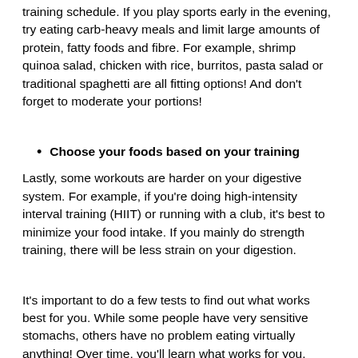training schedule. If you play sports early in the evening, try eating carb-heavy meals and limit large amounts of protein, fatty foods and fibre. For example, shrimp quinoa salad, chicken with rice, burritos, pasta salad or traditional spaghetti are all fitting options! And don’t forget to moderate your portions!
Choose your foods based on your training
Lastly, some workouts are harder on your digestive system. For example, if you’re doing high-intensity interval training (HIIT) or running with a club, it’s best to minimize your food intake. If you mainly do strength training, there will be less strain on your digestion.
It’s important to do a few tests to find out what works best for you. While some people have very sensitive stomachs, others have no problem eating virtually anything! Over time, you’ll learn what works for you.